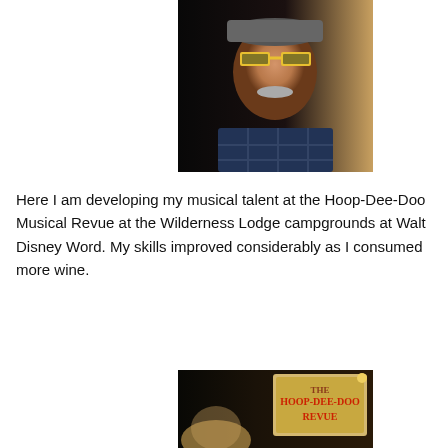[Figure (photo): A man wearing yellow novelty sunglasses and a plaid shirt, looking at the camera with a serious expression. He has a gray mustache. Background is dark on the left and warm golden on the right.]
Here I am developing my musical talent at the Hoop-Dee-Doo Musical Revue at the Wilderness Lodge campgrounds at Walt Disney Word. My skills improved considerably as I consumed more wine.
[Figure (photo): A woman with blonde hair visible at the bottom, and a Hoop-Dee-Doo Revue sign visible on the right side with red text on a tan/wooden background.]